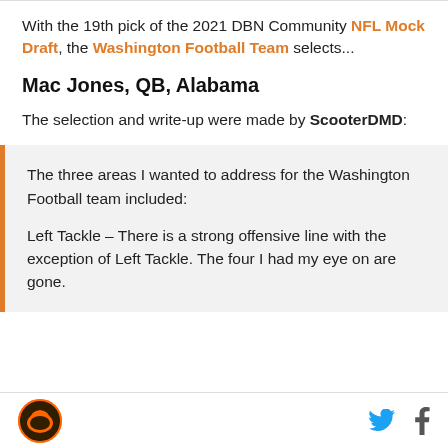With the 19th pick of the 2021 DBN Community NFL Mock Draft, the Washington Football Team selects...
Mac Jones, QB, Alabama
The selection and write-up were made by ScooterDMD:
The three areas I wanted to address for the Washington Football team included:

Left Tackle – There is a strong offensive line with the exception of Left Tackle. The four I had my eye on are gone.
[Browns logo] [Twitter icon] [Facebook icon]